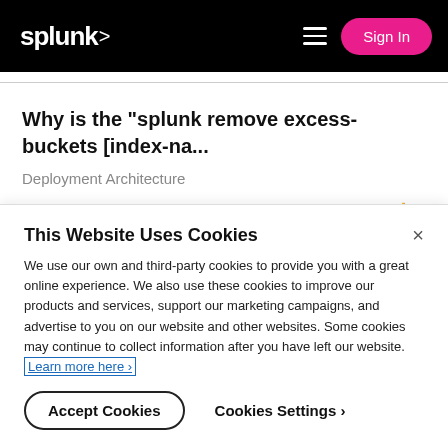splunk> Sign In
Why is the "splunk remove excess-buckets [index-na...
Deployment Architecture
Ankitha_d  11-11-2019 06:15 PM  by muizash  0
This Website Uses Cookies
We use our own and third-party cookies to provide you with a great online experience. We also use these cookies to improve our products and services, support our marketing campaigns, and advertise to you on our website and other websites. Some cookies may continue to collect information after you have left our website. Learn more here ›
Accept Cookies   Cookies Settings ›